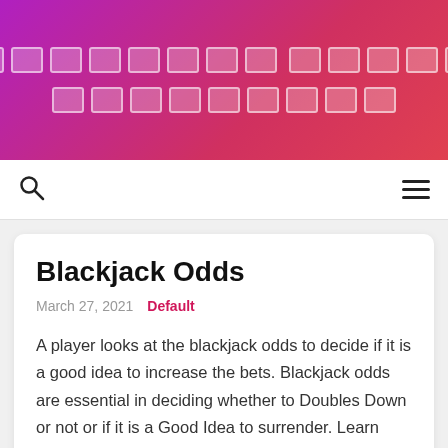[Figure (other): Website header banner with gradient background (purple to red) containing redacted/placeholder text blocks arranged in two rows]
[Navigation bar with search icon and hamburger menu]
Blackjack Odds
March 27, 2021  Default
A player looks at the blackjack odds to decide if it is a good idea to increase the bets. Blackjack odds are essential in deciding whether to Doubles Down or not or if it is a Good Idea to surrender. Learn how to look at the blackjack odds in order to make a knowledgeable and intelligent decision.